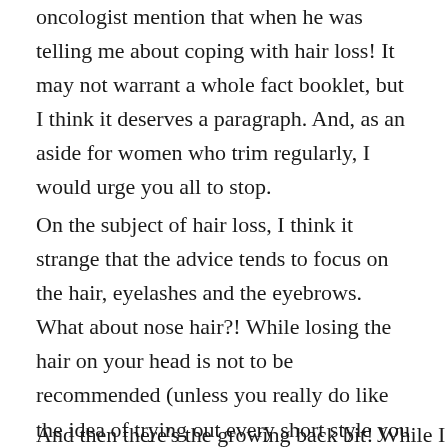oncologist mention that when he was telling me about coping with hair loss! It may not warrant a whole fact booklet, but I think it deserves a paragraph. And, as an aside for women who trim regularly, I would urge you all to stop.
On the subject of hair loss, I think it strange that the advice tends to focus on the hair, eyelashes and the eyebrows. What about nose hair?! While losing the hair on your head is not to be recommended (unless you really do like the idea of trying out every short style you never dare attempt), it is manageable. Losing the hair in your nose, however, makes it look like you are dining on a diet of curries and hot foods.
And then there's the growing back bit! While I am not